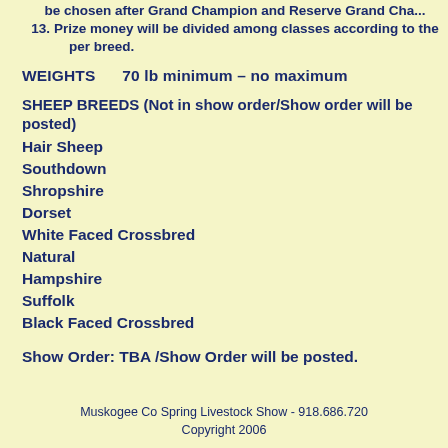be chosen after Grand Champion and Reserve Grand Champion be chosen after Grand Champion and Reserve Grand Cha...
13. Prize money will be divided among classes according to the per breed.
WEIGHTS     70 lb minimum – no maximum
SHEEP BREEDS (Not in show order/Show order will be posted)
Hair Sheep
Southdown
Shropshire
Dorset
White Faced Crossbred
Natural
Hampshire
Suffolk
Black Faced Crossbred
Show Order:  TBA /Show Order will be posted.
Muskogee Co Spring Livestock Show - 918.686.7200
Copyright 2006